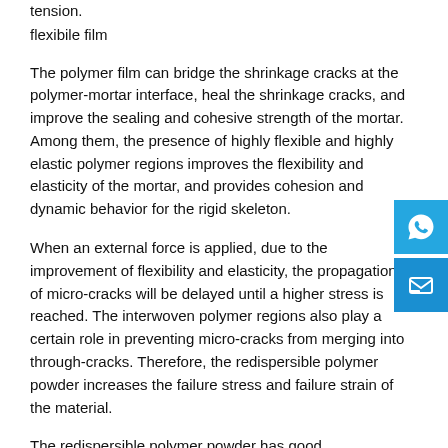tension.
flexibile film
The polymer film can bridge the shrinkage cracks at the polymer-mortar interface, heal the shrinkage cracks, and improve the sealing and cohesive strength of the mortar. Among them, the presence of highly flexible and highly elastic polymer regions improves the flexibility and elasticity of the mortar, and provides cohesion and dynamic behavior for the rigid skeleton.
When an external force is applied, due to the improvement of flexibility and elasticity, the propagation of micro-cracks will be delayed until a higher stress is reached. The interwoven polymer regions also play a certain role in preventing micro-cracks from merging into through-cracks. Therefore, the redispersible polymer powder increases the failure stress and failure strain of the material.
The redispersible polymer powder has good redispersibility,